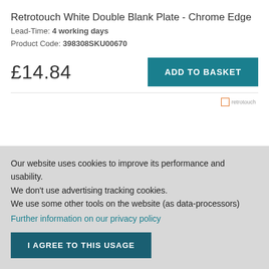Retrotouch White Double Blank Plate - Chrome Edge
Lead-Time: 4 working days
Product Code: 398308SKU00670
£14.84
Our website uses cookies to improve its performance and usability. We don't use advertising tracking cookies. We use some other tools on the website (as data-processors)
Further information on our privacy policy
I AGREE TO THIS USAGE